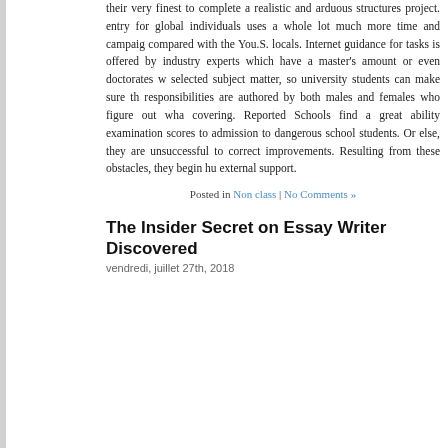their very finest to complete a realistic and arduous structures project. entry for global individuals uses a whole lot much more time and campaign compared with the You.S. locals. Internet guidance for tasks is offered by industry experts which have a master's amount or even doctorates w selected subject matter, so university students can make sure t responsibilities are authored by both males and females who figure out wha covering. Reported Schools find a great ability examination scores to admission to dangerous school students. Or else, they are unsuccessful to correct improvements. Resulting from these obstacles, they begin h external support.
Posted in Non class | No Comments »
The Insider Secret on Essay Writer Discovered
vendredi, juillet 27th, 2018
Our skilled professional authors guarantee your paperwork is acco depending upon your own grade specifications. The academic degree is yo degree of competency that the writer should need to finish your purchase. J any order has an alternative price since it's dependent on some important fa